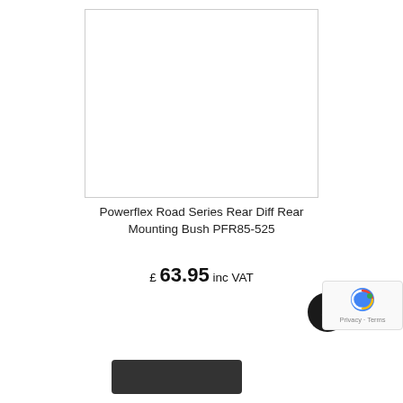[Figure (photo): Empty white product image placeholder with a thin grey border]
Powerflex Road Series Rear Diff Rear Mounting Bush PFR85-525
£ 63.95 inc VAT